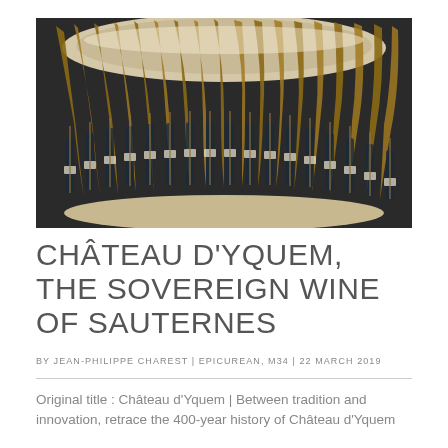[Figure (photo): Circular wine cellar display with wooden wave-shaped panels and wine bottles arranged in a semicircle, with warm lighting from above]
CHÂTEAU D'YQUEM, THE SOVEREIGN WINE OF SAUTERNES
BY JEAN-PHILIPPE CHAREST | EPICUREAN, M34 | 22 MARCH 2019
Original title : Château d'Yquem | Between tradition and innovation, retrace the 400-year history of Château d'Yquem